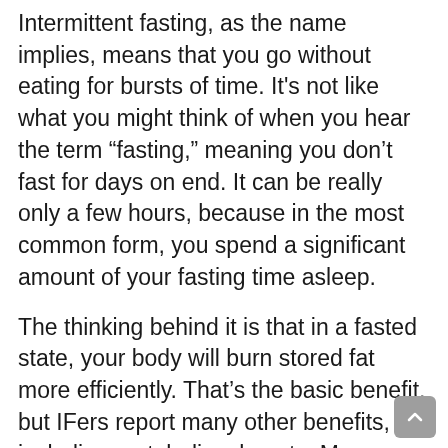Intermittent fasting, as the name implies, means that you go without eating for bursts of time. It's not like what you might think of when you hear the term “fasting,” meaning you don’t fast for days on end. It can be really only a few hours, because in the most common form, you spend a significant amount of your fasting time asleep.
The thinking behind it is that in a fasted state, your body will burn stored fat more efficiently. That’s the basic benefit, but IFers report many other benefits, including metabolism boosts. Many people also say that IF gives them more energy and makes them feel more clear-headed.